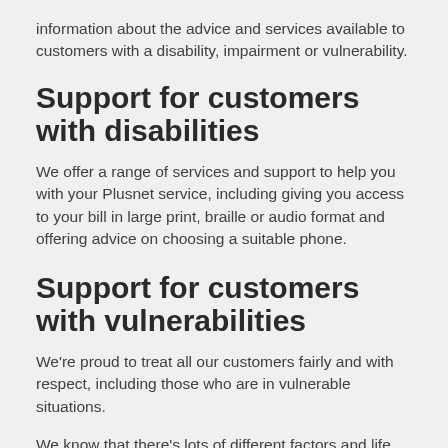information about the advice and services available to customers with a disability, impairment or vulnerability.
Support for customers with disabilities
We offer a range of services and support to help you with your Plusnet service, including giving you access to your bill in large print, braille or audio format and offering advice on choosing a suitable phone.
Support for customers with vulnerabilities
We're proud to treat all our customers fairly and with respect, including those who are in vulnerable situations.
We know that there's lots of different factors and life